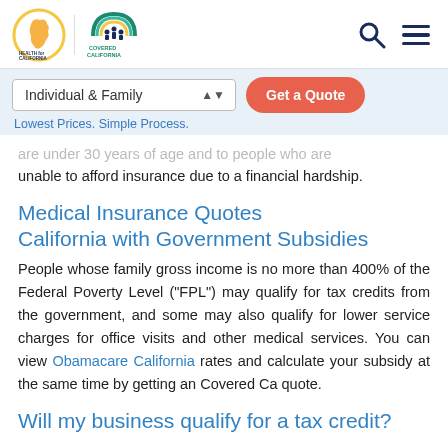[Figure (logo): Health for California and Covered California logos with search and menu icons in header]
[Figure (screenshot): Navigation bar with Individual & Family dropdown and Get a Quote button]
are under 30 years of age and to people who are unable to afford insurance due to a financial hardship.
Medical Insurance Quotes California with Government Subsidies
People whose family gross income is no more than 400% of the Federal Poverty Level ("FPL") may qualify for tax credits from the government, and some may also qualify for lower service charges for office visits and other medical services. You can view Obamacare California rates and calculate your subsidy at the same time by getting an Covered Ca quote.
Will my business qualify for a tax credit?